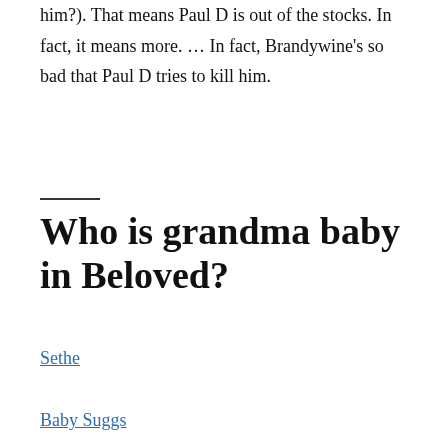him?). That means Paul D is out of the stocks. In fact, it means more. … In fact, Brandywine's so bad that Paul D tries to kill him.
Who is grandma baby in Beloved?
Sethe
Baby Suggs